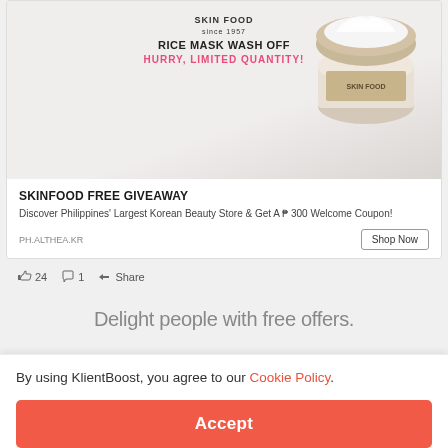[Figure (screenshot): Skinfood Rice Mask Wash Off advertisement card showing a product jar on a light gray background with brand name at top]
SKINFOOD FREE GIVEAWAY
Discover Philippines' Largest Korean Beauty Store & Get A ₱ 300 Welcome Coupon!
PH.ALTHEA.KR
Shop Now
👍 24   💬 1   ➤ Share
Delight people with free offers.
As psychologist Barbara Fredrickson, creator of th
T
By using KlientBoost, you agree to our Cookie Policy.
Accept